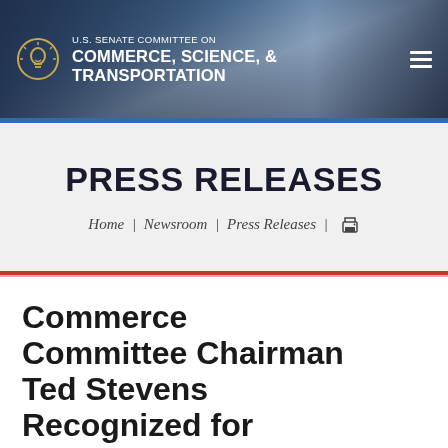U.S. SENATE COMMITTEE ON COMMERCE, SCIENCE, & TRANSPORTATION
PRESS RELEASES
Home | Newsroom | Press Releases |
Commerce Committee Chairman Ted Stevens Recognized for Highway Safety